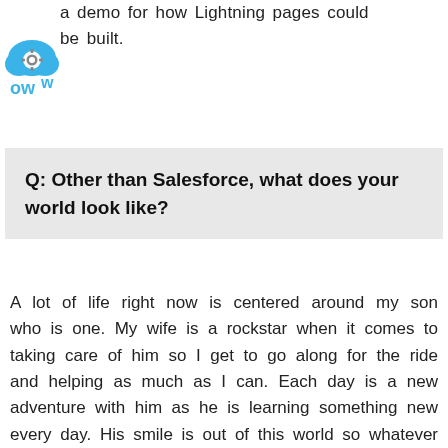[Figure (logo): Blue cloud logo with gear icon and stylized 'ow' letters]
a demo for how Lightning pages could be built.
Q: Other than Salesforce, what does your world look like?
A lot of life right now is centered around my son who is one. My wife is a rockstar when it comes to taking care of him so I get to go along for the ride and helping as much as I can. Each day is a new adventure with him as he is learning something new every day. His smile is out of this world so whatever I